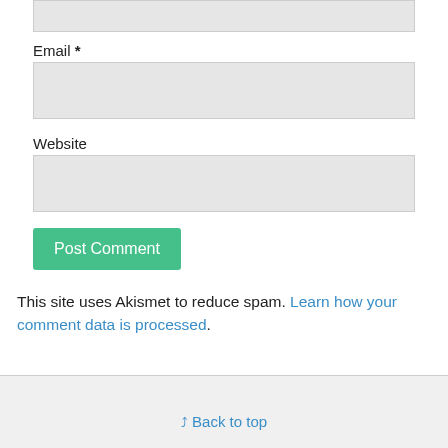Email *
Website
Post Comment
This site uses Akismet to reduce spam. Learn how your comment data is processed.
Back to top